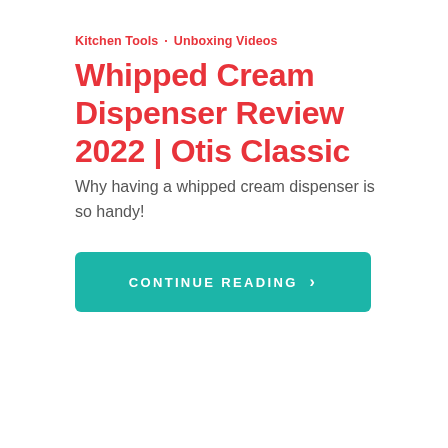Kitchen Tools · Unboxing Videos
Whipped Cream Dispenser Review 2022 | Otis Classic
Why having a whipped cream dispenser is so handy!
CONTINUE READING ›